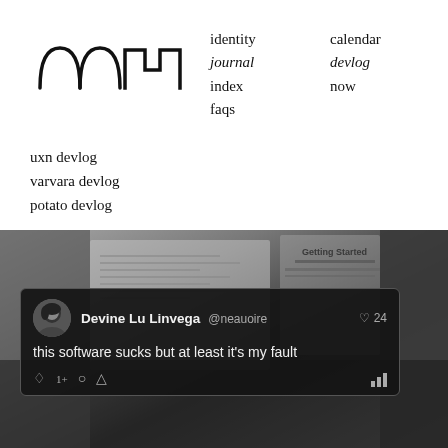[Figure (logo): Abstract geometric logo with wave/step shapes in black lines]
identity
journal
index
faqs
calendar
devlog
now
uxn devlog
varvara devlog
potato devlog
[Figure (photo): Black and white photo of open books/documents on a table with a keyboard visible. Overlaid with a dark tweet card.]
Devine Lu Linvega @neauoire — this software sucks but at least it's my fault